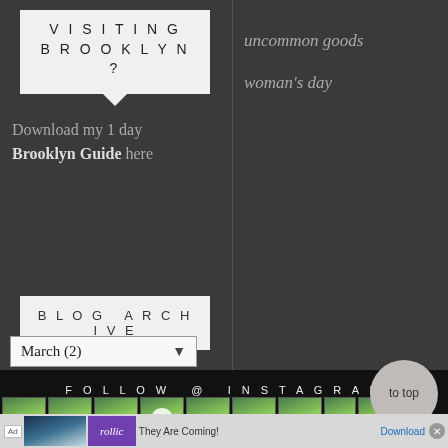VISITING BROOKLYN?
Download my 1 day Brooklyn Guide here
uncommon goods
woman's day
BLOG ARCHIVE
March (2)
FOLLOW @ INSTAGRAM
[Figure (photo): Instagram thumbnail grid with photo thumbnails and a video play button]
to top
© 2007-2... Privacy P...
Ad — They Are Coming! Download (rollic)